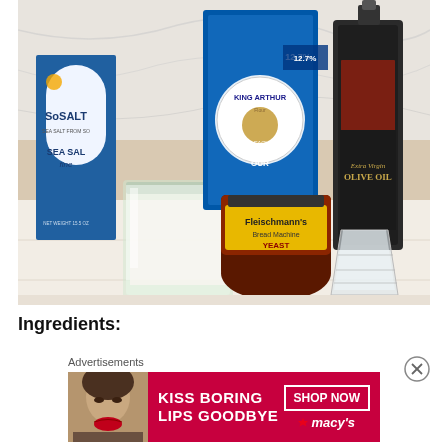[Figure (photo): Kitchen counter with baking ingredients: SoSalt sea salt box, glass jar with sugar/flour, King Arthur Bread Flour bag, Fleischmann's Bread Machine Yeast jar, Extra Virgin Olive Oil bottle, and a plastic measuring cup]
Ingredients:
Advertisements
[Figure (screenshot): Advertisement banner: KISS BORING LIPS GOODBYE - SHOP NOW - macy's, showing a woman's face with red lipstick]